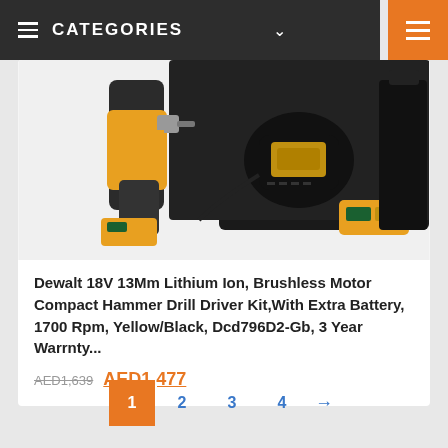CATEGORIES
[Figure (photo): Dewalt 18V cordless hammer drill driver kit with two yellow/black lithium-ion batteries and a black charger, displayed against a dark case background]
Dewalt 18V 13Mm Lithium Ion, Brushless Motor Compact Hammer Drill Driver Kit,With Extra Battery, 1700 Rpm, Yellow/Black, Dcd796D2-Gb, 3 Year Warrnty...
AED1,639  AED1,477
1  2  3  4  →